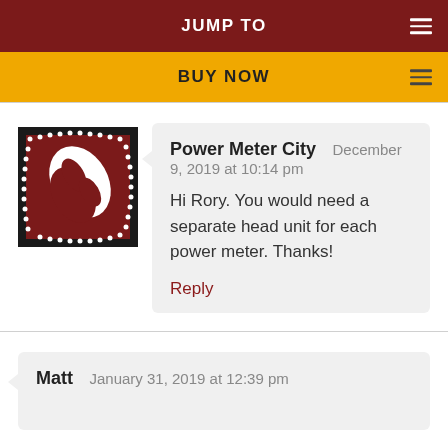JUMP TO
BUY NOW
Power Meter City   December 9, 2019 at 10:14 pm
Hi Rory. You would need a separate head unit for each power meter. Thanks!
Reply
Matt   January 31, 2019 at 12:39 pm